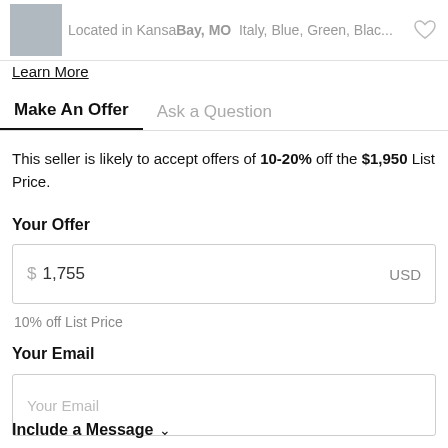Located in Kansas City, MO | Italy, Blue, Green, Blac...
Learn More
Make An Offer
Ask a Question
This seller is likely to accept offers of 10-20% off the $1,950 List Price.
Your Offer
$ 1,755  USD
10% off List Price
Your Email
Your Email
Include a Message